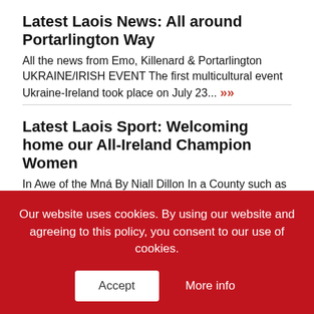Latest Laois News: All around Portarlington Way
All the news from Emo, Killenard & Portarlington UKRAINE/IRISH EVENT The first multicultural event Ukraine-Ireland took place on July 23... »»
Latest Laois Sport: Welcoming home our All-Ireland Champion Women
In Awe of the Mná By Niall Dillon In a County such as Laois, All-Ireland Titles and Inter-County Titles are... »»
Latest Laois Event: Wandering for Wild
Our website uses cookies. By using our website and agreeing to this policy, you consent to our use of cookies.